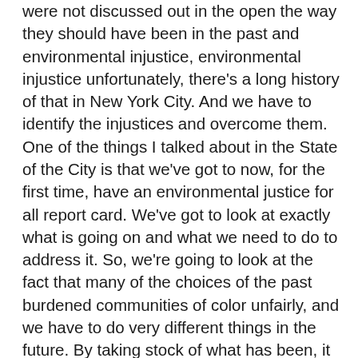were not discussed out in the open the way they should have been in the past and environmental injustice, environmental injustice unfortunately, there's a long history of that in New York City. And we have to identify the injustices and overcome them. One of the things I talked about in the State of the City is that we've got to now, for the first time, have an environmental justice for all report card. We've got to look at exactly what is going on and what we need to do to address it. So, we're going to look at the fact that many of the choices of the past burdened communities of color unfairly, and we have to do very different things in the future. By taking stock of what has been, it will allow us to lay the groundwork for a city-wide environmental justice plan. This is the kind of change we want to make in our city because when everyone knows they're being treated fairly, that's what a sustainable city looks like. Not just sustainable in the environmental sense, sustainable in the human sense, a place that people want to be a place that people feel belonging. That's what we need to create.